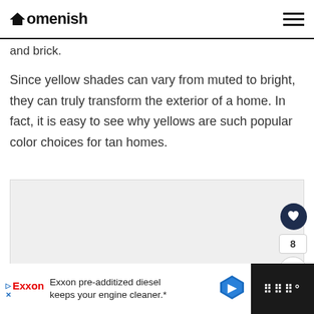Homenish
and brick.
Since yellow shades can vary from muted to bright, they can truly transform the exterior of a home. In fact, it is easy to see why yellows are such popular color choices for tan homes.
[Figure (photo): Image placeholder area, light gray background]
Exxon pre-additized diesel keeps your engine cleaner.*